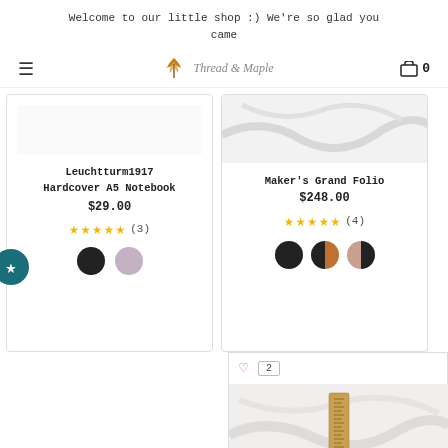Welcome to our little shop :) We're so glad you came
[Figure (screenshot): Navigation bar with hamburger menu, Thread & Maple logo with autumn leaf, and cart icon showing 0 items]
[Figure (screenshot): Product card: Leuchtturm1917 Hardcover A5 Notebook, $29.00, 5 stars (3 reviews), two color swatches (black, lavender). Favorited badge on left edge.]
[Figure (screenshot): Product card: Maker's Grand Folio, $248.00, 5 stars (4 reviews), three color swatches (black, split orange/black, split blush/black)]
[Figure (screenshot): Bottom section showing heart icon, count badge '2', and product photo of a wooden ruler on marble surface]